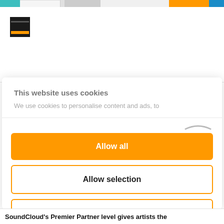[Figure (screenshot): Top browser navigation bar with teal, white tab, thumbnail tab, orange and blue elements]
[Figure (logo): SoundCloud-style logo: dark square with orange bar]
This website uses cookies
We use cookies to personalise content and ads, to
[Figure (other): Scroll/swipe arc indicator]
Allow all
Allow selection
Deny
Powered by Cookiebot by Usercentrics
SoundCloud's Premier Partner level gives artists the